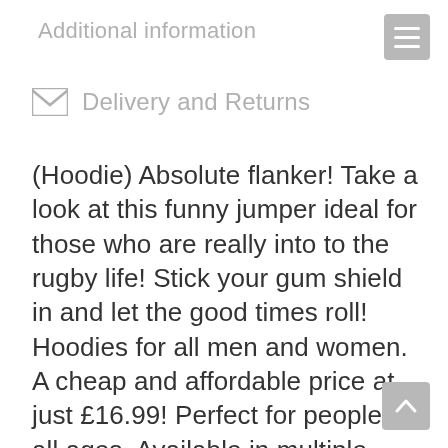Additional information
Delivery and Returns
(Hoodie) Absolute flanker! Take a look at this funny jumper ideal for those who are really into to the rugby life! Stick your gum shield in and let the good times roll! Hoodies for all men and women. A cheap and affordable price at just £16.99! Perfect for people of all ages. Available in multiple colours. Available in all years. Get your helmet on and tackle your opposition in a top to match! Whether...